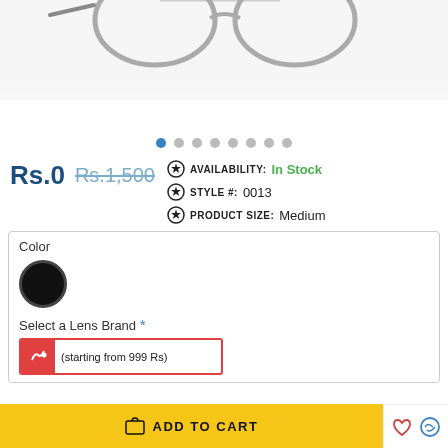[Figure (photo): Product photo of eyeglasses/sunglasses on white background, partially visible at top]
• • • • • • • • (navigation dots, first dot active/blue)
Rs.0  Rs.1,500
AVAILABILITY: In Stock
STYLE #: 0013
PRODUCT SIZE: Medium
Color
Select a Lens Brand *
(starting from 999 Rs)
ADD TO CART